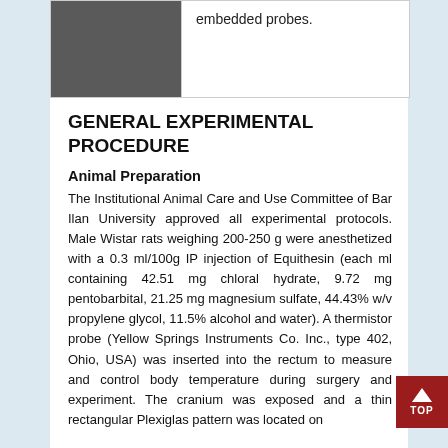[Figure (photo): Top strip showing a dark gray/charcoal image block on the left and text on the right reading 'embedded probes.']
embedded probes.
GENERAL EXPERIMENTAL PROCEDURE
Animal Preparation
The Institutional Animal Care and Use Committee of Bar Ilan University approved all experimental protocols. Male Wistar rats weighing 200-250 g were anesthetized with a 0.3 ml/100g IP injection of Equithesin (each ml containing 42.51 mg chloral hydrate, 9.72 mg pentobarbital, 21.25 mg magnesium sulfate, 44.43% w/v propylene glycol, 11.5% alcohol and water). A thermistor probe (Yellow Springs Instruments Co. Inc., type 402, Ohio, USA) was inserted into the rectum to measure and control body temperature during surgery and experiment. The cranium was exposed and a thin rectangular Plexiglas pattern was located on